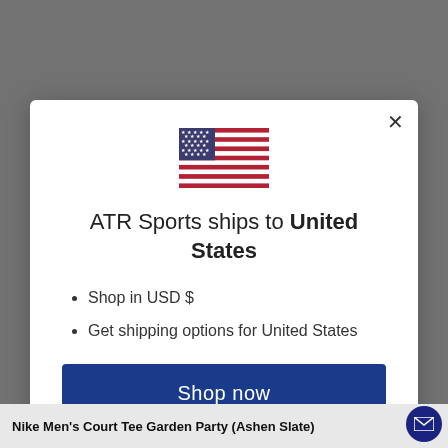[Figure (screenshot): Background showing a person wearing a Nike shirt, partially obscured by a modal dialog overlay]
[Figure (illustration): US flag SVG illustration in the modal header]
ATR Sports ships to United States
Shop in USD $
Get shipping options for United States
Shop now
Change shipping country
Nike Men's Court Tee Garden Party (Ashen Slate)